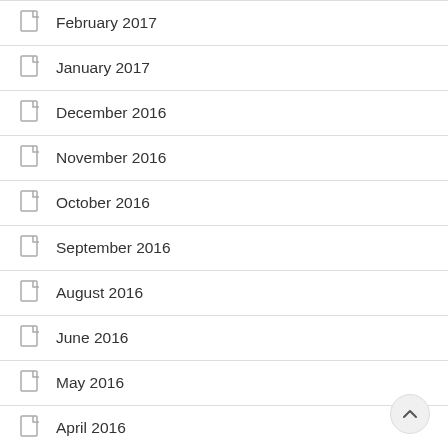February 2017
January 2017
December 2016
November 2016
October 2016
September 2016
August 2016
June 2016
May 2016
April 2016
March 2016
February 2016